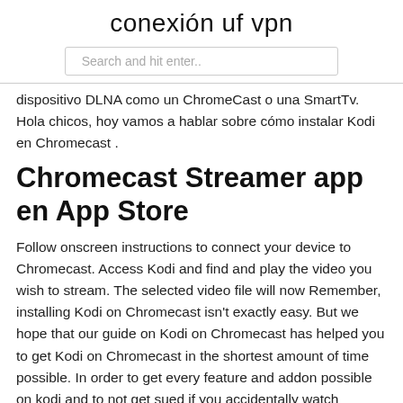conexión uf vpn
[Figure (other): Search input box with placeholder text 'Search and hit enter..']
dispositivo DLNA como un ChromeCast o una SmartTv. Hola chicos, hoy vamos a hablar sobre cómo instalar Kodi en Chromecast .
Chromecast Streamer app en App Store
Follow onscreen instructions to connect your device to Chromecast. Access Kodi and find and play the video you wish to stream. The selected video file will now Remember, installing Kodi on Chromecast isn't exactly easy. But we hope that our guide on Kodi on Chromecast has helped you to get Kodi on Chromecast in the shortest amount of time possible. In order to get every feature and addon possible on kodi and to not get sued if you accidentally watch something pirated, you need a VPN. How to Install Kodi on Chromecast . The best thing about Kodi on Chromecast is where you can do installation process using PC and Android device. Also, both